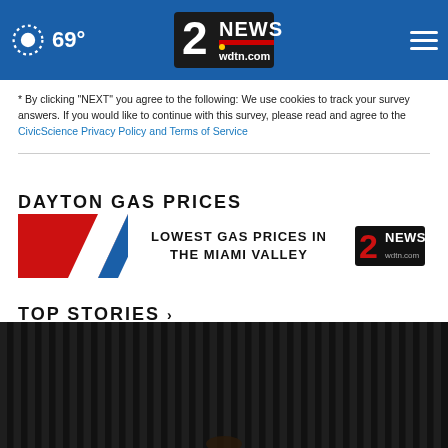69° | 2 NEWS wdtn.com | [hamburger menu]
* By clicking "NEXT" you agree to the following: We use cookies to track your survey answers. If you would like to continue with this survey, please read and agree to the CivicScience Privacy Policy and Terms of Service
DAYTON GAS PRICES
[Figure (other): Gas prices banner showing diagonal red, white and blue graphic on the left, bold text 'LOWEST GAS PRICES IN THE MIAMI VALLEY' in the center, and 2 NEWS logo on the right]
TOP STORIES ›
[Figure (photo): Dark photograph showing vertical black stripes/curtain with a partially visible hand at the bottom]